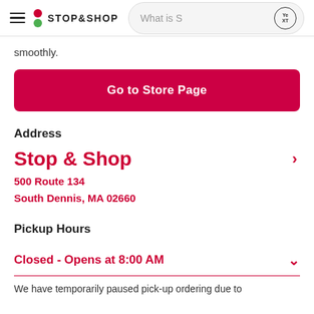Stop&Shop — What is S search bar
smoothly.
Go to Store Page
Address
Stop & Shop
500 Route 134
South Dennis, MA 02660
Pickup Hours
Closed - Opens at 8:00 AM
We have temporarily paused pick-up ordering due to